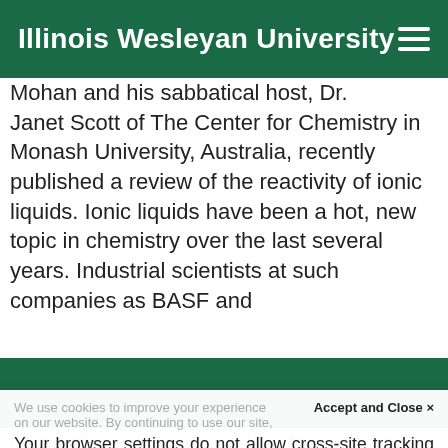Illinois Wesleyan University
Mohan and his sabbatical host, Dr. Janet Scott of The Center for Chemistry in Monash University, Australia, recently published a review of the reactivity of ionic liquids. Ionic liquids have been a hot, new topic in chemistry over the last several years. Industrial scientists at such companies as BASF and
We use cookies to improve your experience on our website. By continuing to use our site,
Accept and Close ×
Your browser settings do not allow cross-site tracking for advertising. Click on this page to allow AdRoll to use cross-site tracking to tailor ads to you. Learn more or opt out of this AdRoll tracking by clicking here. This message only appears once.
comprehensive reviews that focuses on the possibilit